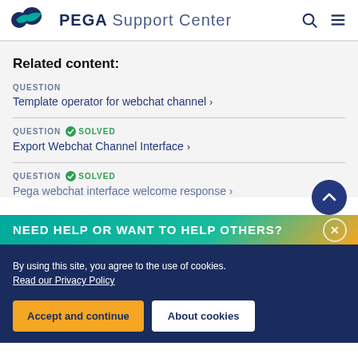PEGA Support Center
Related content:
QUESTION
Template operator for webchat channel >
QUESTION SOLVED
Export Webchat Channel Interface >
QUESTION SOLVED
Pega webchat interface welcome response >
NEED HELP OR WANT TO HELP OTHERS?
By using this site, you agree to the use of cookies. Read our Privacy Policy
Accept and continue
About cookies